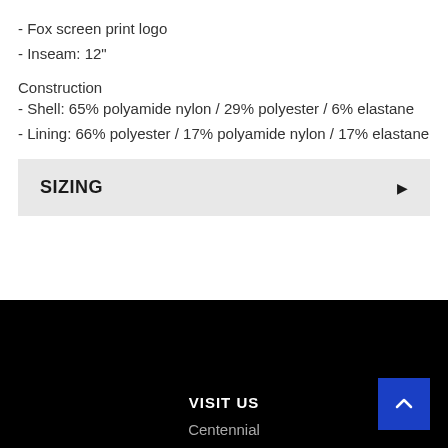- Fox screen print logo
- Inseam: 12"
Construction
- Shell: 65% polyamide nylon / 29% polyester / 6% elastane
- Lining: 66% polyester / 17% polyamide nylon / 17% elastane
SIZING ▶
VISIT US  Centennial